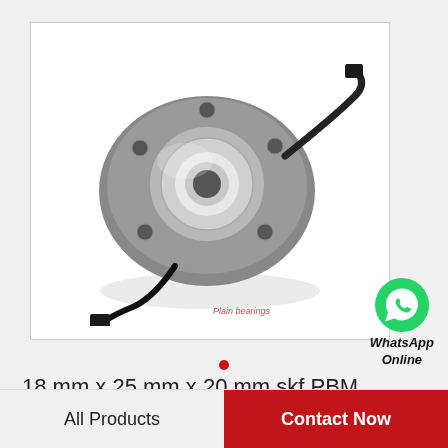[Figure (photo): Wheel hub bearing assembly component — a chrome/steel hub with central bore, flanged plate with bolt holes, and ABS sensor connector cable, photographed on white background. Watermark text 'Plain bearings' in red at bottom right.]
[Figure (logo): WhatsApp green circle icon with white phone handset, labeled 'WhatsApp Online' in bold black text below.]
•
18 mm x 25 mm x 20 mm skf PBM 182520 M1G1 Plain bearings,Bushings
All Products    Contact Now